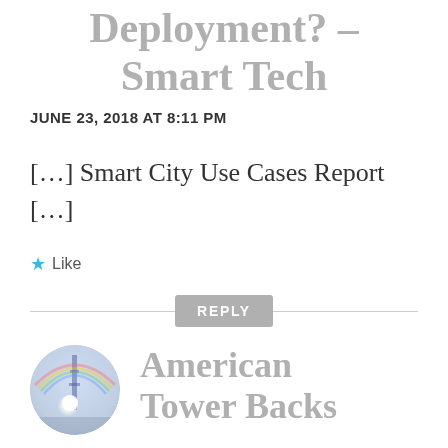Deployment? — Smart Tech
JUNE 23, 2018 AT 8:11 PM
[…] Smart City Use Cases Report […]
Like
REPLY
[Figure (photo): Circular avatar photo showing a tower with a rainbow and bright light lens flare against a blue sky]
American Tower Backs